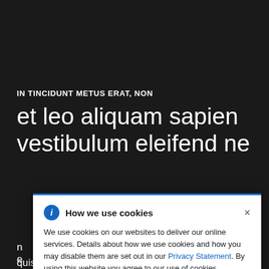IN TINCIDUNT METUS ERAT, NON
et leo aliquam sapien vestibulum eleifend ne
C ... justo t ... mauris. P ... que laoreet. N ... nec quam. U ... terdum n ... bulum. Ut e ... fend nec quis punc. In tincidunt metus erat, non
[Figure (screenshot): Cookie consent modal dialog with blue header border, info icon, 'How we use cookies' title, close X button, and text explaining cookie usage with Privacy Statement link.]